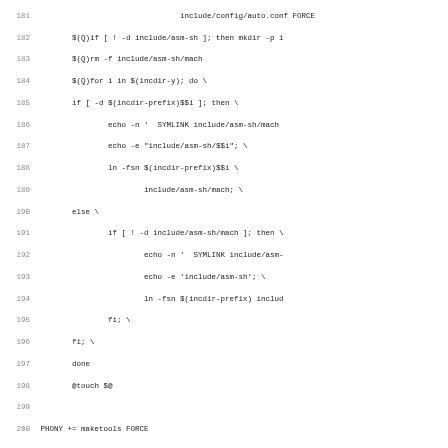Code listing lines 181-212 of a Linux kernel Makefile for SH architecture
181	include/config/auto.conf FORCE
182		$(Q)if [ ! -d include/asm-sh ]; then mkdir -p i
183		$(Q)rm -f include/asm-sh/mach
184		$(Q)for i in $(incdir-y); do \
185		if [ -d $(incdir-prefix)$$i ]; then \
186				echo -n '  SYMLINK include/asm-sh/mach
187				echo -e "include/asm-sh/$$i"; \
188				ln -fsn $(incdir-prefix)$$i \
189					include/asm-sh/mach; \
190		else \
191				if [ ! -d include/asm-sh/mach ]; then \
192					echo -n '  SYMLINK include/asm-
193					echo -e 'include/asm-sh'; \
194					ln -fsn $(incdir-prefix) includ
195				fi; \
196		fi; \
197		done
198		@touch $@
199
200 PHONY += maketools FORCE
201
202 maketools:  include/linux/version.h FORCE
203		$(Q)$(MAKE) $(build)=arch/sh/tools include/asm-
204
205 all: $(KBUILD_IMAGE)
206
207 zImage uImage uImage.srec vmlinux.srec: vmlinux
208		$(Q)$(MAKE) $(build)=$(boot) $(boot)/$@
209
210 compressed: zImage
211
212 archprepare: include/asm-sh/.cpu include/asm-sh/.mach m